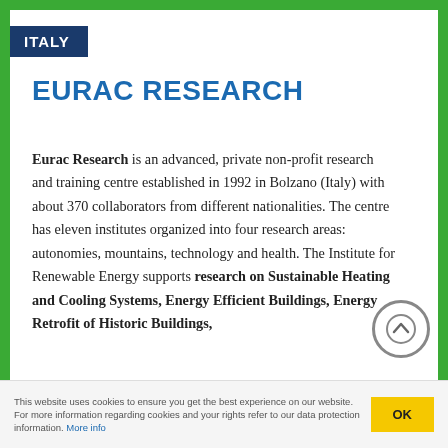ITALY
EURAC RESEARCH
Eurac Research is an advanced, private non-profit research and training centre established in 1992 in Bolzano (Italy) with about 370 collaborators from different nationalities. The centre has eleven institutes organized into four research areas: autonomies, mountains, technology and health. The Institute for Renewable Energy supports research on Sustainable Heating and Cooling Systems, Energy Efficient Buildings, Energy Retrofit of Historic Buildings,
This website uses cookies to ensure you get the best experience on our website. For more information regarding cookies and your rights refer to our data protection information. More info